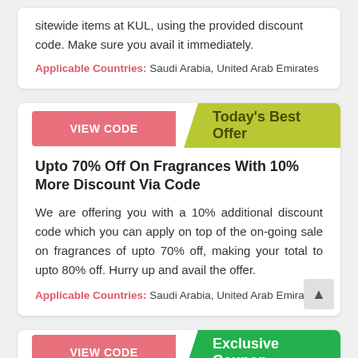sitewide items at KUL, using the provided discount code. Make sure you avail it immediately.
Applicable Countries: Saudi Arabia, United Arab Emirates
VIEW CODE
Today's Best Offer
Upto 70% Off On Fragrances With 10% More Discount Via Code
We are offering you with a 10% additional discount code which you can apply on top of the on-going sale on fragrances of upto 70% off, making your total to upto 80% off. Hurry up and avail the offer.
Applicable Countries: Saudi Arabia, United Arab Emirates
VIEW CODE
Exclusive Coupon